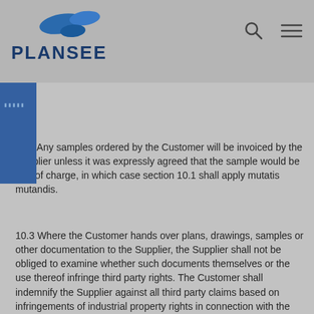[Figure (logo): Plansee logo with blue abstract shapes and PLANSEE text in dark blue]
10.2 Any samples ordered by the Customer will be invoiced by the Supplier unless it was expressly agreed that the sample would be free of charge, in which case section 10.1 shall apply mutatis mutandis.
10.3 Where the Customer hands over plans, drawings, samples or other documentation to the Supplier, the Supplier shall not be obliged to examine whether such documents themselves or the use thereof infringe third party rights. The Customer shall indemnify the Supplier against all third party claims based on infringements of industrial property rights in connection with the plans, drawings, samples or other documentation and/or the use thereof, and shall bear any costs incurred by the Supplier